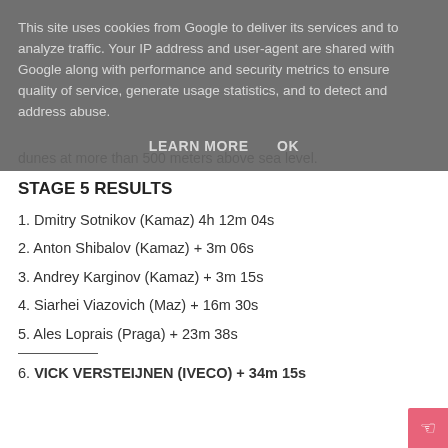This site uses cookies from Google to deliver its services and to analyze traffic. Your IP address and user-agent are shared with Google along with performance and security metrics to ensure quality of service, generate usage statistics, and to detect and address abuse.
LEARN MORE   OK
dunes at more than 500 meters above sea level.
STAGE 5 RESULTS
1. Dmitry Sotnikov (Kamaz) 4h 12m 04s
2. Anton Shibalov (Kamaz) + 3m 06s
3. Andrey Karginov (Kamaz) + 3m 15s
4. Siarhei Viazovich (Maz) + 16m 30s
5. Ales Loprais (Praga) + 23m 38s
6. VICK VERSTEIJNEN (IVECO) + 34m 15s